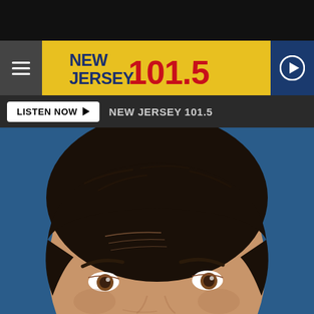[Figure (screenshot): New Jersey 101.5 radio station website screenshot showing navigation header with hamburger menu, yellow logo banner, play button, listen now bar, and a close-up photo of a middle-aged man's face against a blue background]
NEW JERSEY 101.5
LISTEN NOW ▶  NEW JERSEY 101.5